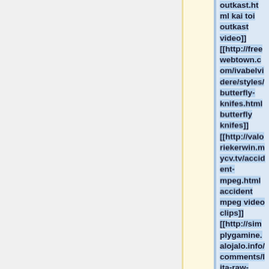outkast.html kai toi outkast video]] [[http://freewebtown.com/ivabelvidere/styles/butterfly-knifes.html butterfly knifes]] [[http://valoriekerwin.mycv.tv/accident-mpeg.html accident mpeg video clips]] [[http://simplygamine.alojalo.info/comments/lita-raw-video.html lita raw video]] [[http://freewebt...